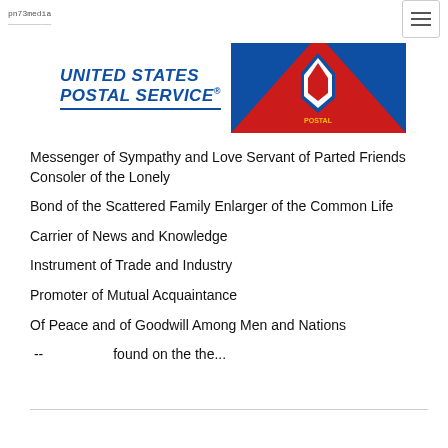pn73media
[Figure (logo): United States Postal Service logo with blue italic text 'UNITED STATES POSTAL SERVICE ®' and a decorative red/blue angular graphic to the right]
Messenger of Sympathy and Love Servant of Parted Friends Consoler of the Lonely
Bond of the Scattered Family Enlarger of the Common Life
Carrier of News and Knowledge
Instrument of Trade and Industry
Promoter of Mutual Acquaintance
Of Peace and of Goodwill Among Men and Nations
--                    found on the the...